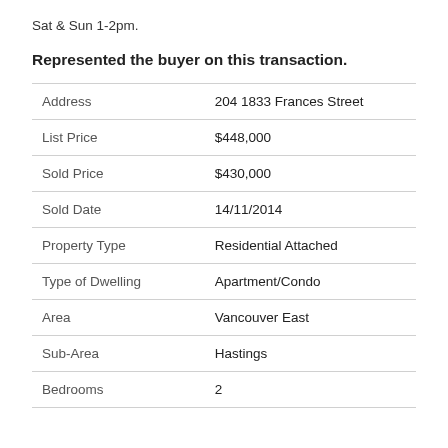Sat & Sun 1-2pm.
Represented the buyer on this transaction.
|  |  |
| --- | --- |
| Address | 204 1833 Frances Street |
| List Price | $448,000 |
| Sold Price | $430,000 |
| Sold Date | 14/11/2014 |
| Property Type | Residential Attached |
| Type of Dwelling | Apartment/Condo |
| Area | Vancouver East |
| Sub-Area | Hastings |
| Bedrooms | 2 |